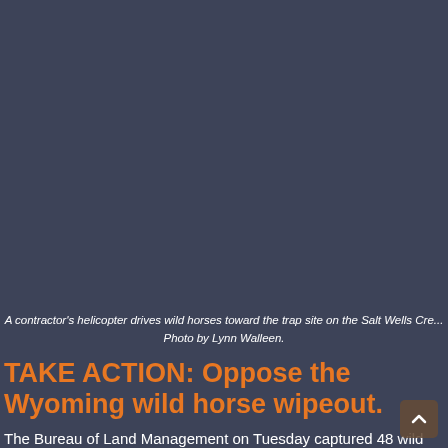[Figure (photo): Dark gray/slate background representing a photo of a contractor's helicopter driving wild horses toward the trap site on the Salt Wells Creek area.]
A contractor's helicopter drives wild horses toward the trap site on the Salt Wells Cre... Photo by Lynn Walleen.
TAKE ACTION: Oppose the Wyoming wild horse wipeout.
The Bureau of Land Management on Tuesday captured 48 wild horses as the agency's largest-ever helicopter roundup continued on the White Mountain Herd Management Area. A ...